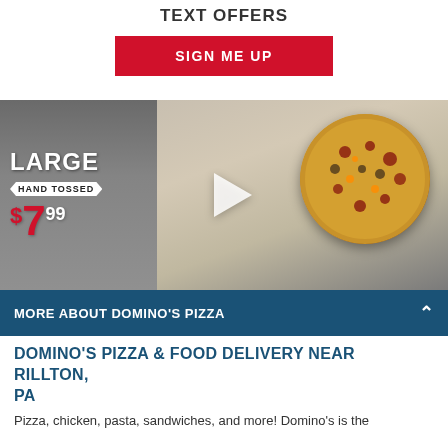TEXT OFFERS
SIGN ME UP
[Figure (photo): Domino's pizza in an open box with text overlay: LARGE HAND TOSSED $7.99, and a play button in the center]
MORE ABOUT DOMINO'S PIZZA
DOMINO'S PIZZA & FOOD DELIVERY NEAR RILLTON, PA
Pizza, chicken, pasta, sandwiches, and more! Domino's is the